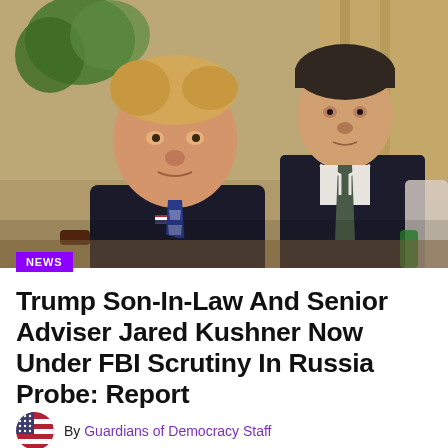[Figure (photo): Donald Trump and Jared Kushner seated at a table, both in dark suits, Trump speaking, Kushner looking forward, formal meeting room setting]
NEWS
Trump Son-In-Law And Senior Adviser Jared Kushner Now Under FBI Scrutiny In Russia Probe: Report
By Guardians of Democracy Staff